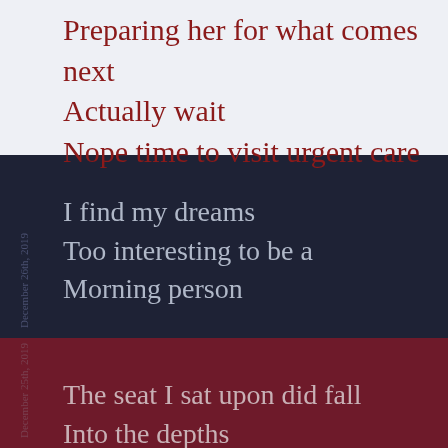Preparing her for what comes next
Actually wait
Nope time to visit urgent care
December 26th, 2019
I find my dreams
Too interesting to be a
Morning person
December 25th, 2019
The seat I sat upon did fall
Into the depths